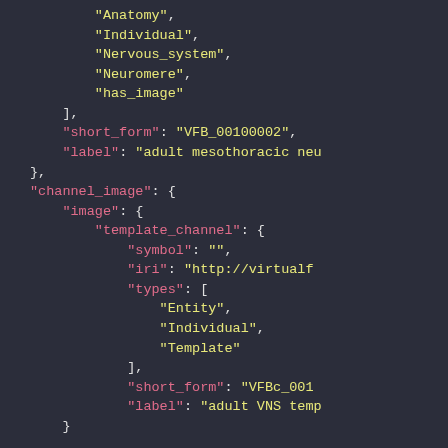JSON code snippet showing nested data structure with fields: Anatomy, Individual, Nervous_system, Neuromere, has_image, short_form: VFB_00100002, label: adult mesothoracic neu, channel_image: { image: { template_channel: { symbol: "", iri: http://virtualf..., types: [Entity, Individual, Template], short_form: VFBc_001..., label: adult VNS temp